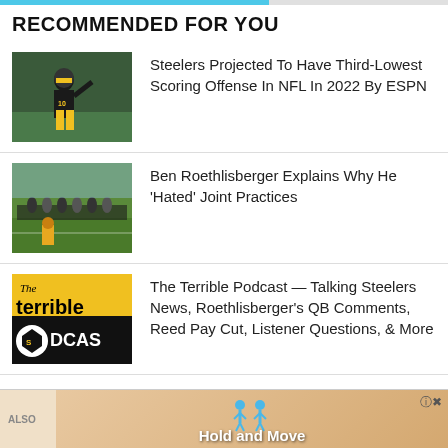RECOMMENDED FOR YOU
[Figure (photo): Pittsburgh Steelers player #10 raising arm on football field]
Steelers Projected To Have Third-Lowest Scoring Offense In NFL In 2022 By ESPN
[Figure (photo): Football practice field with players lined up]
Ben Roethlisberger Explains Why He ‘Hated’ Joint Practices
[Figure (logo): The Terrible Podcast logo with Steelers emblem]
The Terrible Podcast — Talking Steelers News, Roethlisberger's QB Comments, Reed Pay Cut, Listener Questions, & More
ALSO
Hold and Move